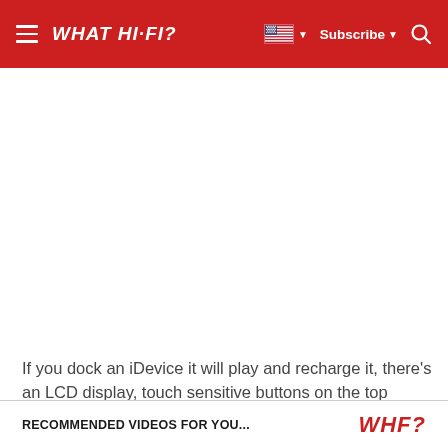WHAT HI-FI?
[Figure (other): White advertisement/content area (blank)]
If you dock an iDevice it will play and recharge it, there's an LCD display, touch sensitive buttons on the top panel and a sliding aluminium cover to protect the dock and controls when not in use.
RECOMMENDED VIDEOS FOR YOU... WHF?